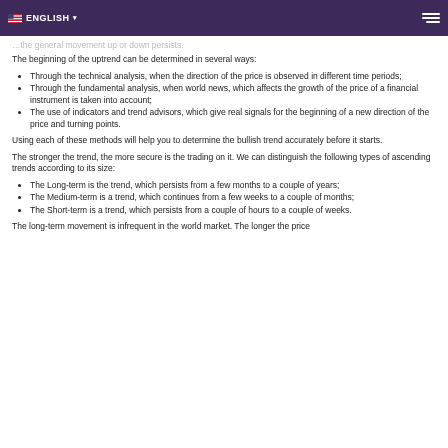ENGLISH ▾
the general movement up or down persists.
The beginning of the uptrend can be determined in several ways:
Through the technical analysis, when the direction of the price is observed in different time periods;
Through the fundamental analysis, when world news, which affects the growth of the price of a financial instrument is taken into account;
The use of indicators and trend advisors, which give real signals for the beginning of a new direction of the price and turning points.
Using each of these methods will help you to determine the bullish trend accurately before it starts.
The stronger the trend, the more secure is the trading on it. We can distinguish the following types of ascending trends according to its size:
The Long-term is the trend, which persists from a few months to a couple of years;
The Medium-term is a trend, which continues from a few weeks to a couple of months;
The Short-term is a trend, which persists from a couple of hours to a couple of weeks.
The long-term movement is infrequent in the world market. The longer the price